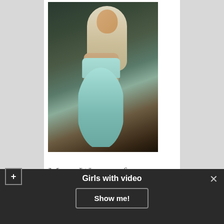[Figure (photo): A blonde woman in a light blue strapless bodycon dress, posed looking over her shoulder, against a dark ornate background with a gold-framed mirror.]
More Women from
Girls with video
Show me!